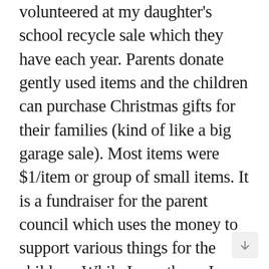volunteered at my daughter's school recycle sale which they have each year. Parents donate gently used items and the children can purchase Christmas gifts for their families (kind of like a big garage sale). Most items were $1/item or group of small items. It is a fundraiser for the parent council which uses the money to support various things for the children. While I was there, I purchased a pocket watch for my husband's stocking and a book to add to my mother's Christmas